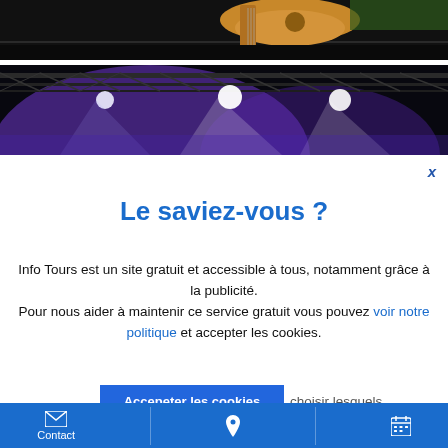[Figure (photo): Partial view of a guitarist performing on stage, dark background with truss structure visible]
[Figure (photo): Concert stage with purple and white stage lighting, metal truss structure overhead]
x
Le saviez-vous ?
Info Tours est un site gratuit et accessible à tous, notamment grâce à la publicité.
Pour nous aider à maintenir ce service gratuit vous pouvez voir notre politique et accepter les cookies.
Accepeter les cookies
choisir lesquels
Contact | [map pin icon] | [calendar icon]